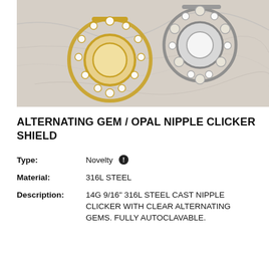[Figure (photo): Two nipple clicker shield jewelry pieces on a marble surface — one gold-toned with clear gems, one silver-toned with opal and clear gems.]
ALTERNATING GEM / OPAL NIPPLE CLICKER SHIELD
| Type: | Novelty |
| Material: | 316L STEEL |
| Description: | 14G 9/16" 316L STEEL CAST NIPPLE CLICKER WITH CLEAR ALTERNATING GEMS. FULLY AUTOCLAVABLE. |